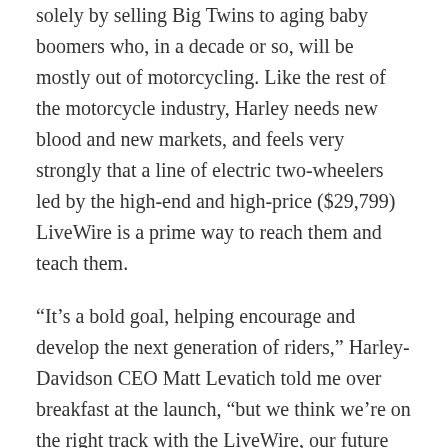solely by selling Big Twins to aging baby boomers who, in a decade or so, will be mostly out of motorcycling. Like the rest of the motorcycle industry, Harley needs new blood and new markets, and feels very strongly that a line of electric two-wheelers led by the high-end and high-price ($29,799) LiveWire is a prime way to reach them and teach them.
“It’s a bold goal, helping encourage and develop the next generation of riders,” Harley-Davidson CEO Matt Levatich told me over breakfast at the launch, “but we think we’re on the right track with the LiveWire, our future electric offerings, and our More Roads To Harley-Davidson efforts. Motorcyclists know that nothing is more spectacular than two-wheeled travel, right? Spreading that word among a more general population, and building riders in addition to building great motorcycles…well, that seems like a pretty strong concept to us.